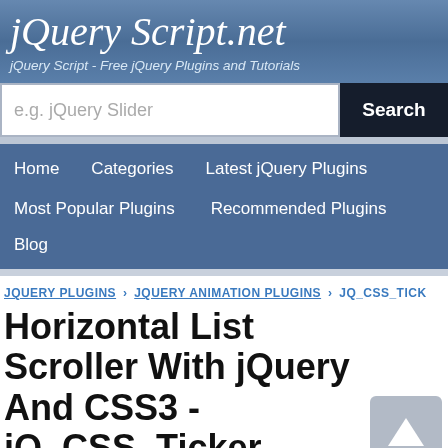jQuery Script.net - jQuery Script - Free jQuery Plugins and Tutorials
[Figure (screenshot): Search bar with placeholder 'e.g. jQuery Slider' and Search button]
Home
Categories
Latest jQuery Plugins
Most Popular Plugins
Recommended Plugins
Blog
JQUERY PLUGINS › JQUERY ANIMATION PLUGINS › JQ_CSS_TICK
Horizontal List Scroller With jQuery And CSS3 - jQ_CSS_Ticker